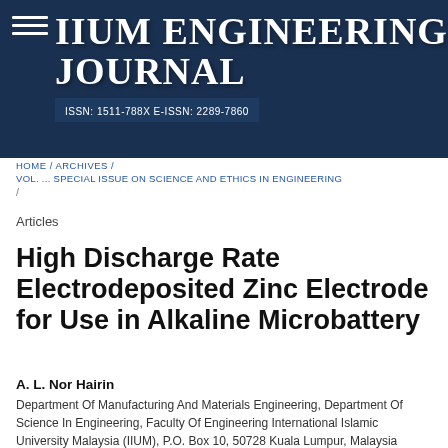IIUM ENGINEERING JOURNAL
HOME / ARCHIVES / VOL. ... SPECIAL ISSUE ON SCIENCE AND ETHICS IN ENGINEERING / Articles
High Discharge Rate Electrodeposited Zinc Electrode for Use in Alkaline Microbattery
A. L. Nor Hairin
Department Of Manufacturing And Materials Engineering, Department Of Science In Engineering, Faculty Of Engineering International Islamic University Malaysia (IIUM), P.O. Box 10, 50728 Kuala Lumpur, Malaysia